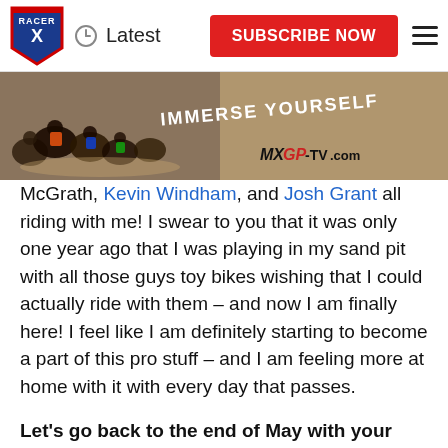Racer X | Latest | SUBSCRIBE NOW
[Figure (photo): MXGP-TV.com banner advertisement with motocross riders and text 'IMMERSE YOURSELF']
McGrath, Kevin Windham, and Josh Grant all riding with me!  I swear to you that it was only one year ago that I was playing in my sand pit with all those guys toy bikes wishing that I could actually ride with them – and now I am finally here!  I feel like I am definitely starting to become a part of this pro stuff – and I am feeling more at home with it with every day that passes.
Let's go back to the end of May with your AMA Pro debut, was it what you expected?
Well Jim, initially I thought that I was going to turn pro in 2010 Supercross – with the rule change being